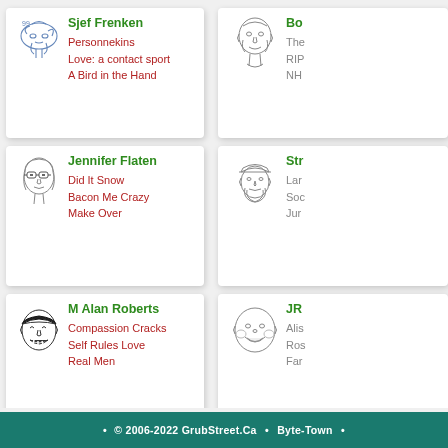[Figure (illustration): Cartoon sketch of Sjef Frenken - abstract cloud-like head drawing]
Sjef Frenken
Personnekins
Love: a contact sport
A Bird in the Hand
[Figure (illustration): Cartoon sketch of Bo - older man with glasses]
Bo
The
RIP
NH
[Figure (illustration): Cartoon sketch of Jennifer Flaten - woman with glasses]
Jennifer Flaten
Did It Snow
Bacon Me Crazy
Make Over
[Figure (illustration): Cartoon sketch of Str - bearded man with hat]
Str
Lar
Soc
Jur
[Figure (illustration): Cartoon sketch of M Alan Roberts - person with bandana laughing]
M Alan Roberts
Compassion Cracks
Self Rules Love
Real Men
[Figure (illustration): Cartoon sketch of JR - round smiling face]
JR
Alis
Ros
Far
© 2006-2022 GrubStreet.Ca • Byte-Town •